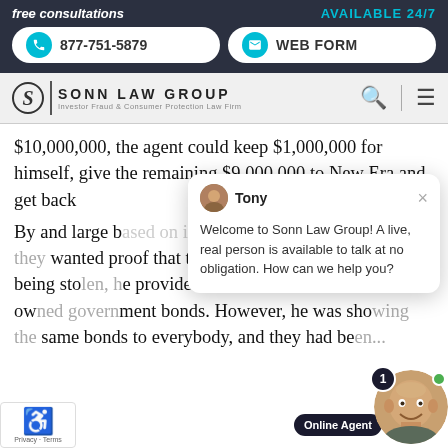free consultations | AVAILABLE 24/7 | 877-751-5879 | WEB FORM
[Figure (logo): Sonn Law Group logo — Investor Fraud & Consumer Protection Law Firm]
$10,000,000, the agent could keep $1,000,000 for himself, give the remaining $9,000,000 to New Era and get back [obscured] months.
By and large [obscured] questions. When they wanted proof that the money they donated was not being sto[len, he] provided evidence that the Foundation ow[ned govern]ment bonds. However, he was sho[wing the] same bonds to everybody, and they had be[en...]
[Figure (screenshot): Live chat popup from Tony at Sonn Law Group. Message: Welcome to Sonn Law Group! A live, real person is available to talk at no obligation. How can we help you?]
[Figure (photo): Online Agent photo of a smiling bald man with notification badge showing '1' and green dot, with Online Agent label]